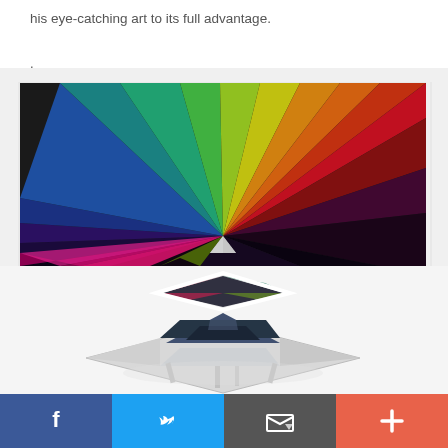his eye-catching art to its full advantage.
.
[Figure (photo): Colorful rainbow string art installation on a wall with radiating rays from a central prism point, and reflective geometric pyramid sculptures on the floor beneath it.]
Facebook | Twitter | Email | Plus